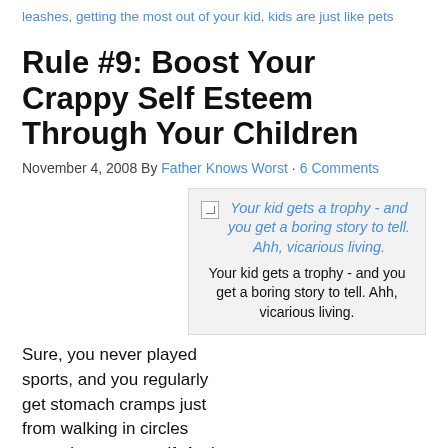leashes, getting the most out of your kid, kids are just like pets
Rule #9: Boost Your Crappy Self Esteem Through Your Children
November 4, 2008 By Father Knows Worst · 6 Comments
[Figure (illustration): Broken image placeholder with caption: Your kid gets a trophy - and you get a boring story to tell. Ahh, vicarious living.]
Your kid gets a trophy - and you get a boring story to tell. Ahh, vicarious living.
Sure, you never played sports, and you regularly get stomach cramps just from walking in circles muttering to yourself. And sure, your understanding of sports is kind of hazy, especially when it comes to rules and, well, how to actually play anything without looking like a wounded chimp.